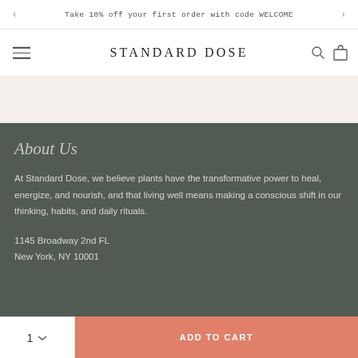Take 10% off your first order with code WELCOME
STANDARD DOSE
About Us
At Standard Dose, we believe plants have the transformative power to heal, energize, and nourish, and that living well means making a conscious shift in our thinking, habits, and daily rituals.
1145 Broadway 2nd FL
New York, NY 10001
1  ADD TO CART